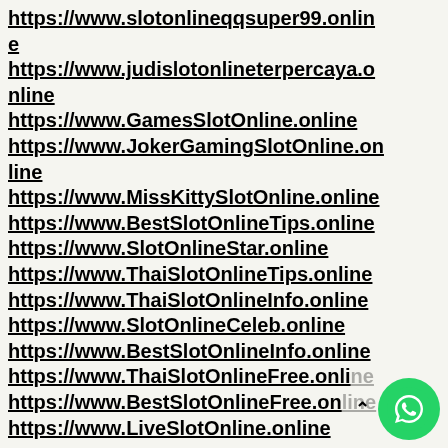https://www.slotonlineqqsuper99.online
https://www.judislotonlineterpercaya.online
https://www.GamesSlotOnline.online
https://www.JokerGamingSlotOnline.online
https://www.MissKittySlotOnline.online
https://www.BestSlotOnlineTips.online
https://www.SlotOnlineStar.online
https://www.ThaiSlotOnlineTips.online
https://www.ThaiSlotOnlineInfo.online
https://www.SlotOnlineCeleb.online
https://www.BestSlotOnlineInfo.online
https://www.ThaiSlotOnlineFree.online
https://www.BestSlotOnlineFree.online
https://www.LiveSlotOnline.online